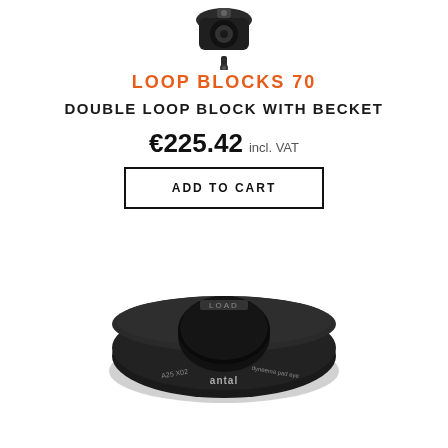[Figure (photo): Partial photo of a dark/black double loop block pulley hardware at top of page]
LOOP BLOCKS 70
DOUBLE LOOP BLOCK WITH BECKET
€225.42 incl. VAT
ADD TO CART
[Figure (photo): A black anodized aluminum ring/donut shaped pad eye sailing hardware with text 'LOAD', 'antal', 'A25 X02', 'dyneema pad eye' engraved on it]